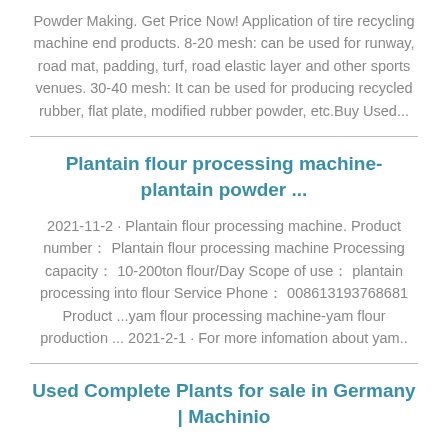Powder Making. Get Price Now! Application of tire recycling machine end products. 8-20 mesh: can be used for runway, road mat, padding, turf, road elastic layer and other sports venues. 30-40 mesh: It can be used for producing recycled rubber, flat plate, modified rubber powder, etc.Buy Used...
Plantain flour processing machine-plantain powder ...
2021-11-2 · Plantain flour processing machine. Product number： Plantain flour processing machine Processing capacity： 10-200ton flour/Day Scope of use： plantain processing into flour Service Phone： 008613193768681 Product ...yam flour processing machine-yam flour production ... 2021-2-1 · For more infomation about yam..
Used Complete Plants for sale in Germany | Machinio